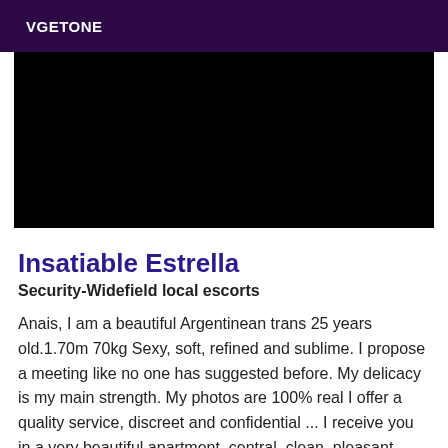VGETONE
[Figure (photo): Large black/dark image area, content not visible]
Insatiable Estrella
Security-Widefield local escorts
Anais, I am a beautiful Argentinean trans 25 years old.1.70m 70kg Sexy, soft, refined and sublime. I propose a meeting like no one has suggested before. My delicacy is my main strength. My photos are 100% real I offer a quality service, discreet and confidential ... I receive you in a very beautiful apartment, central, clean, pleasant, discreet and well decorated. My intense and